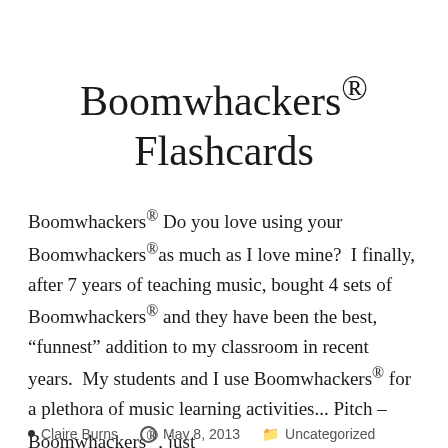Boomwhackers® Flashcards
Boomwhackers® Do you love using your Boomwhackers®as much as I love mine?  I finally, after 7 years of teaching music, bought 4 sets of Boomwhackers® and they have been the best, "funnest" addition to my classroom in recent years.  My students and I use Boomwhackers® for a plethora of music learning activities... Pitch – Boomwhackers®, just
Continue reading  →
Claire Burns   May 8, 2013   Uncategorized